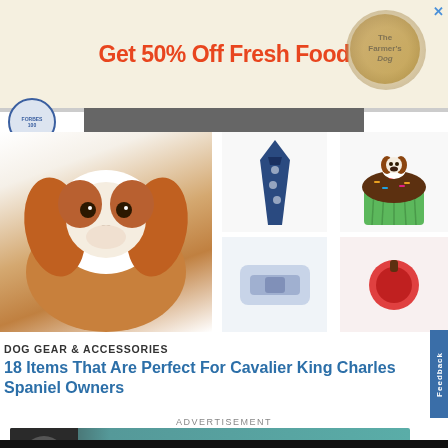[Figure (screenshot): Advertisement banner: Get 50% Off Fresh Food with The Farmer's Dog circular logo]
[Figure (photo): Cavalier King Charles Spaniel dog portrait, plus product images: navy tie with dog print, cupcake with dog figurine topper, and partial product images below]
DOG GEAR & ACCESSORIES
18 Items That Are Perfect For Cavalier King Charles Spaniel Owners
ADVERTISEMENT
[Figure (screenshot): Ollie advertisement: Good, clean food made just for your pup]